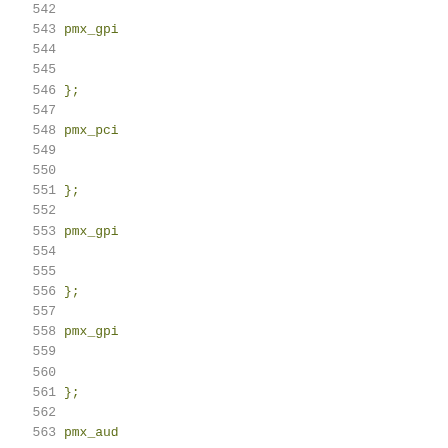Code listing lines 542–563 with line numbers and partial code content showing pmx_gpio, pmx_pcie, };, and pmx_audio identifiers in yellow-green color